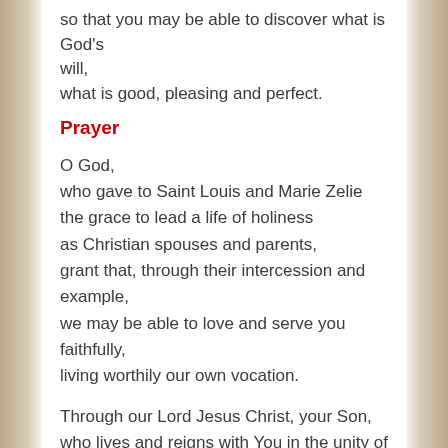so that you may be able to discover what is God's will, what is good, pleasing and perfect.
Prayer
O God,
who gave to Saint Louis and Marie Zelie
the grace to lead a life of holiness
as Christian spouses and parents,
grant that, through their intercession and example,
we may be able to love and serve you faithfully,
living worthily our own vocation.

Through our Lord Jesus Christ, your Son,
who lives and reigns with You in the unity of the Holy Spirit,
God, for ever and ever.